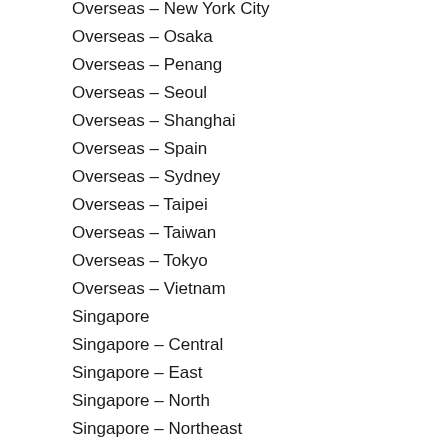Overseas – New York City
Overseas – Osaka
Overseas – Penang
Overseas – Seoul
Overseas – Shanghai
Overseas – Spain
Overseas – Sydney
Overseas – Taipei
Overseas – Taiwan
Overseas – Tokyo
Overseas – Vietnam
Singapore
Singapore – Central
Singapore – East
Singapore – North
Singapore – Northeast